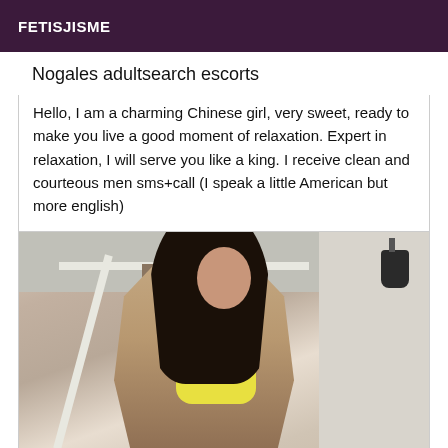FETISJISME
Nogales adultsearch escorts
Hello, I am a charming Chinese girl, very sweet, ready to make you live a good moment of relaxation. Expert in relaxation, I will serve you like a king. I receive clean and courteous men sms+call (I speak a little American but more english)
[Figure (photo): Young woman with long dark hair wearing a yellow top, standing outdoors under a covered patio area with white beams and a wall-mounted lamp visible in the background.]